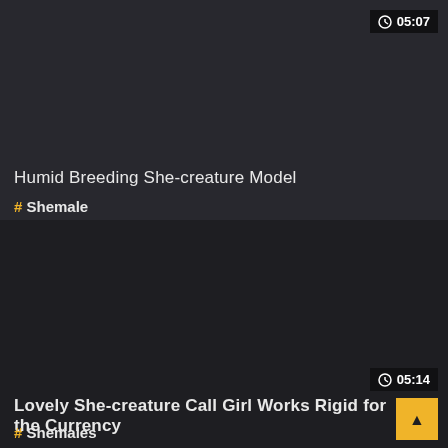05:07
Humid Breeding She-creature Model
# Shemale
05:14
Lovely She-creature Call Girl Works Rigid for the Currency
# Shemales